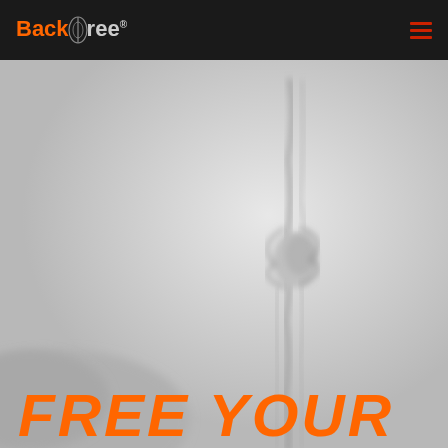[Figure (logo): BackFree logo in orange and gray on black header bar]
[Figure (photo): Grayscale blurred background photo showing what appears to be a spine or rope-like structure against a light gray background]
FREE YOUR